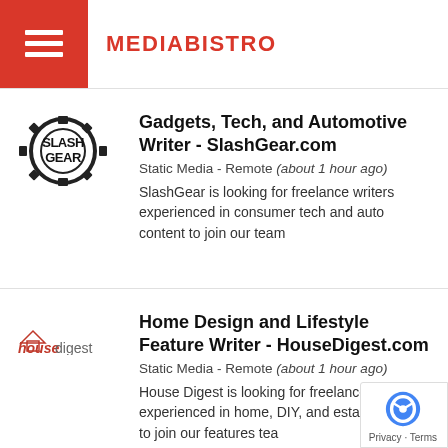MEDIABISTRO
[Figure (logo): SlashGear logo - gear icon with SLASH and GEAR text]
Gadgets, Tech, and Automotive Writer - SlashGear.com
Static Media - Remote (about 1 hour ago)
SlashGear is looking for freelance writers experienced in consumer tech and auto content to join our team
[Figure (logo): housedigest logo in red and grey italic text]
Home Design and Lifestyle Feature Writer - HouseDigest.com
Static Media - Remote (about 1 hour ago)
House Digest is looking for freelance writers experienced in home, DIY, and estate content to join our features tea